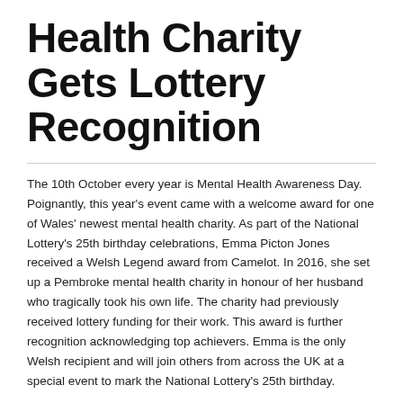Health Charity Gets Lottery Recognition
The 10th October every year is Mental Health Awareness Day. Poignantly, this year's event came with a welcome award for one of Wales' newest mental health charity. As part of the National Lottery's 25th birthday celebrations, Emma Picton Jones received a Welsh Legend award from Camelot. In 2016, she set up a Pembroke mental health charity in honour of her husband who tragically took his own life. The charity had previously received lottery funding for their work. This award is further recognition acknowledging top achievers. Emma is the only Welsh recipient and will join others from across the UK at a special event to mark the National Lottery's 25th birthday.
About the Pembroke Mental Health Charity Award